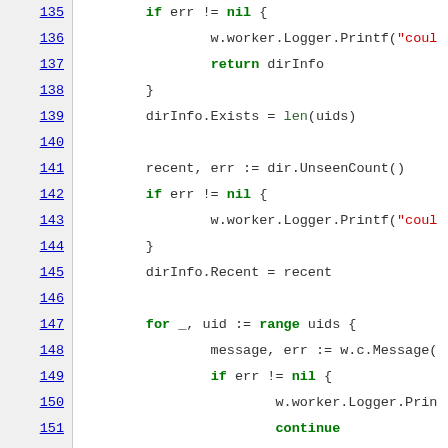[Figure (screenshot): Source code listing in Go language, lines 135-156, showing file/directory info retrieval with error handling and a for loop iterating over uids.]